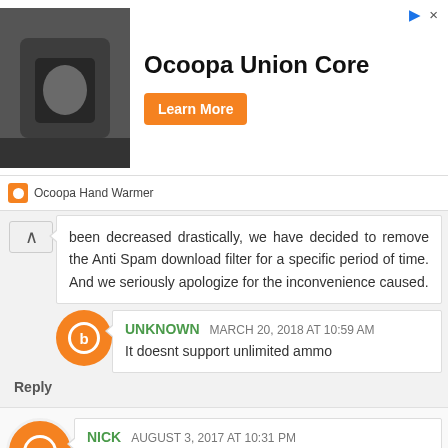[Figure (infographic): Advertisement banner for Ocoopa Union Core hand warmer product with photo, title, and Learn More button]
Ocoopa Hand Warmer
been decreased drastically, we have decided to remove the Anti Spam download filter for a specific period of time. And we seriously apologize for the inconvenience caused.
UNKNOWN  MARCH 20, 2018 AT 10:59 AM
It doesnt support unlimited ammo
Reply
NICK  AUGUST 3, 2017 AT 10:31 PM
After 1 minute of gaming ayers freeze in custom multiplayer...